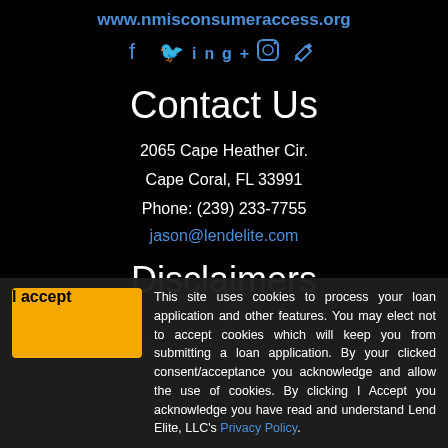www.nmisconsumeraccess.org
[Figure (illustration): Social media icons: Facebook, Twitter, LinkedIn, Google+, Instagram, Pen/Edit]
Contact Us
2065 Cape Heather Cir.
Cape Coral, FL 33991
Phone: (239) 233-7755
jason@lendelite.com
Disclaimers
Legal
This site uses cookies to process your loan application and other features. You may elect not to accept cookies which will keep you from submitting a loan application. By your clicked consent/acceptance you acknowledge and allow the use of cookies. By clicking I Accept you acknowledge you have read and understand Lend Elite, LLC's Privacy Policy.